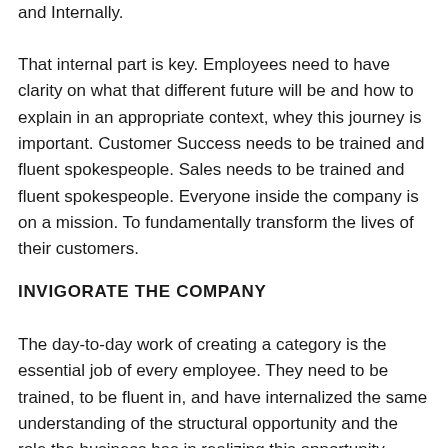and Internally.
That internal part is key. Employees need to have clarity on what that different future will be and how to explain in an appropriate context, whey this journey is important. Customer Success needs to be trained and fluent spokespeople. Sales needs to be trained and fluent spokespeople. Everyone inside the company is on a mission. To fundamentally transform the lives of their customers.
INVIGORATE THE COMPANY
The day-to-day work of creating a category is the essential job of every employee. They need to be trained, to be fluent in, and have internalized the same understanding of the structural opportunity and the role the business has in realizing this opportunity. That's why RealNetworks had a